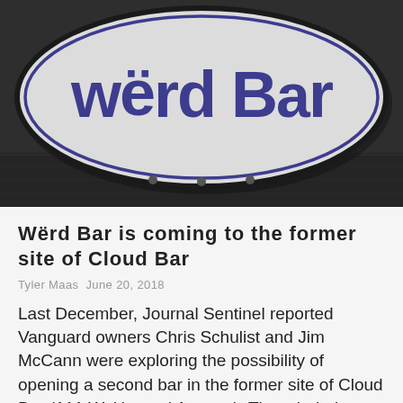[Figure (photo): A photo of the Wërd Bar oval sign with white/grey background and dark blue text reading 'wërd Bar', mounted on a dark grey wall]
Wërd Bar is coming to the former site of Cloud Bar
Tyler Maas  June 20, 2018
Last December, Journal Sentinel reported Vanguard owners Chris Schulist and Jim McCann were exploring the possibility of opening a second bar in the former site of Cloud Bar (111 W. Howard Avenue). Though their…